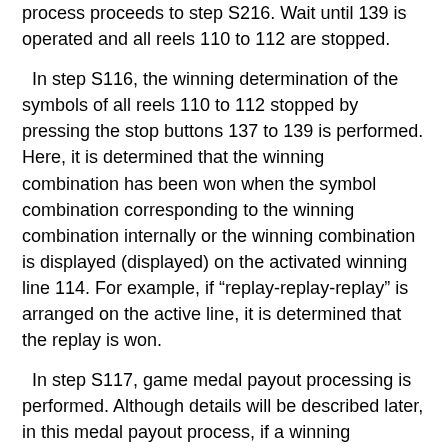process proceeds to step S216. Wait until 139 is operated and all reels 110 to 112 are stopped.
In step S116, the winning determination of the symbols of all reels 110 to 112 stopped by pressing the stop buttons 137 to 139 is performed. Here, it is determined that the winning combination has been won when the symbol combination corresponding to the winning combination internally or the winning combination is displayed (displayed) on the activated winning line 114. For example, if "replay-replay-replay" is arranged on the active line, it is determined that the replay is won.
In step S117, game medal payout processing is performed. Although details will be described later, in this medal payout process, if a winning combination is awarded, the number of medals corresponding to the winning combination is paid out.
In step S118, control for ending the game and control for shifting the game state are performed. For example, in the case of BB winning or RB winning, preparation is made so that the BB game or RB game can be started from the next time, and in those final games, preparation is made so that